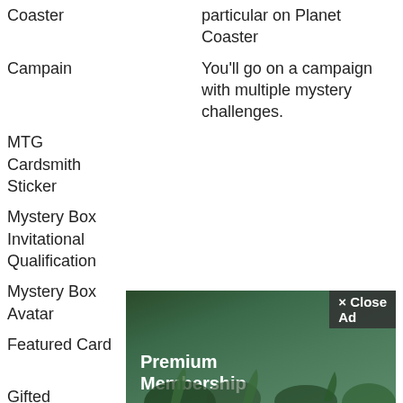| Name | Description | Num |
| --- | --- | --- |
| Coaster | particular on Planet Coaster | 3 |
| Campain | You'll go on a campaign with multiple mystery challenges. | 3
6 |
| MTG Cardsmith Sticker |  | 4
5 |
| Mystery Box Invitational Qualification |  | 5
0 |
| Mystery Box Avatar |  | 5
5 |
| Featured Card |  | 6
5 |
| Gifted Premi... Playmat... |  | 7
5
2
5 |
[Figure (other): Advertisement overlay showing 'Premium Membership' with a close button and a fantasy forest background image]